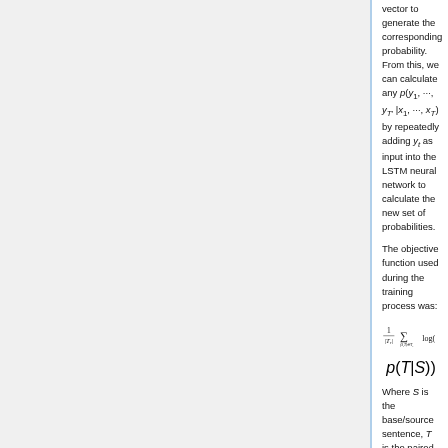vector to generate the corresponding probability. From this, we can calculate any p(y1, ..., y_T' | x1, ..., x_T) by repeatedly adding y_t as input into the LSTM neural network to calculate the new set of probabilities.
The objective function used during the training process was:
Where S is the base/source sentence, T is the paired translated sentence and T_r is the total training set. This objective function is to maximize the log probability of a correct translation T given the base/source sentence S over the entire training set. Once the training is complete, translations are produced by finding the most likely translation according to LSTM: